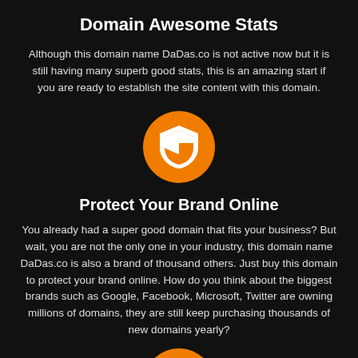Domain Awesome Stats
Although this domain name DaDas.co is not active now but it is still having many superb good stats, this is an amazing start if you are ready to establish the site content with this domain.
[Figure (illustration): Orange circle with white shield/security icon in center]
Protect Your Brand Online
You already had a super good domain that fits your business? But wait, you are not the only one in your industry, this domain name DaDas.co is also a brand of thousand others. Just buy this domain to protect your brand online. How do you think about the biggest brands such as Google, Facebook, Microsoft, Twitter are owning millions of domains, they are still keep purchasing thousands of new domains yearly?
[Figure (illustration): Orange circle with white globe/world icon in center, partially visible at bottom]